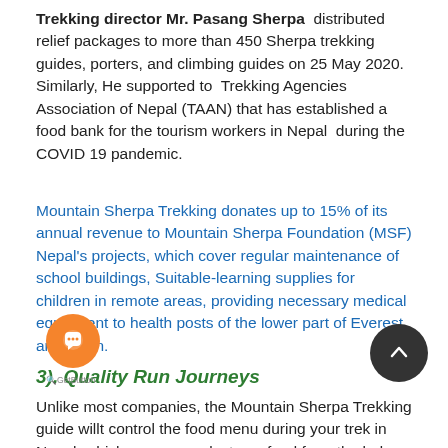Trekking director Mr. Pasang Sherpa distributed relief packages to more than 450 Sherpa trekking guides, porters, and climbing guides on 25 May 2020. Similarly, He supported to Trekking Agencies Association of Nepal (TAAN) that has established a food bank for the tourism workers in Nepal during the COVID 19 pandemic.
Mountain Sherpa Trekking donates up to 15% of its annual revenue to Mountain Sherpa Foundation (MSF) Nepal's projects, which cover regular maintenance of school buildings, Suitable-learning supplies for children in remote areas, providing necessary medical equipment to health posts of the lower part of Everest and so on.
3). Quality Run Journeys
Unlike most companies, the Mountain Sherpa Trekking guide will not control the food menu during your trek in Nepal, which means you can select any food from the lodge menu as per your taste. Our guides will provide you with enough meals on their trek as part of the trip price. A lot of times people are